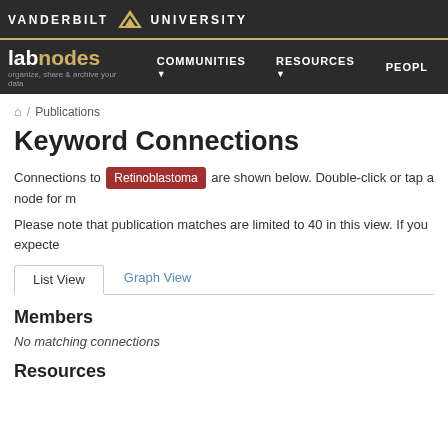VANDERBILT UNIVERSITY — labnodes — organize, share & archive your data — COMMUNITIES — RESOURCES — PEOPLE
/ Publications
Keyword Connections
Connections to Retinoblastoma are shown below. Double-click or tap a node for more information.
Please note that publication matches are limited to 40 in this view. If you expected more results, please use the list view.
List View   Graph View
Members
No matching connections
Resources